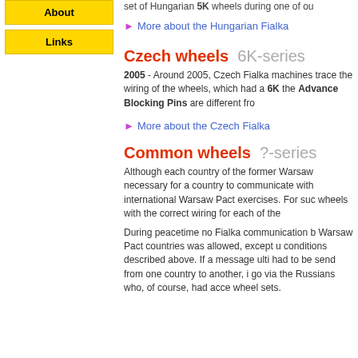About
Links
set of Hungarian 5K wheels during one of ou
More about the Hungarian Fialka
Czech wheels   6K-series
2005 - Around 2005, Czech Fialka machines trace the wiring of the wheels, which had a 6K the Advance Blocking Pins are different fro
More about the Czech Fialka
Common wheels   ?-series
Although each country of the former Warsaw necessary for a country to communicate with international Warsaw Pact exercises. For suc wheels with the correct wiring for each of the
During peacetime no Fialka communication b Warsaw Pact countries was allowed, except u conditions described above. If a message ulti had to be send from one country to another, i go via the Russians who, of course, had acce wheel sets.